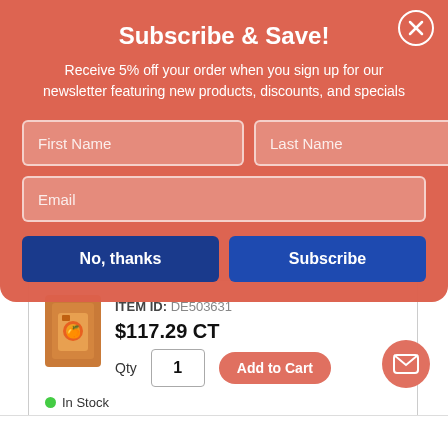Subscribe & Save!
Receive 5% off your order when you sign up for our newsletter featuring new products, discounts, and specials
First Name
Last Name
Email
No, thanks
Subscribe
ITEM ID: DE503631
$117.29 CT
Qty  1
Add to Cart
In Stock